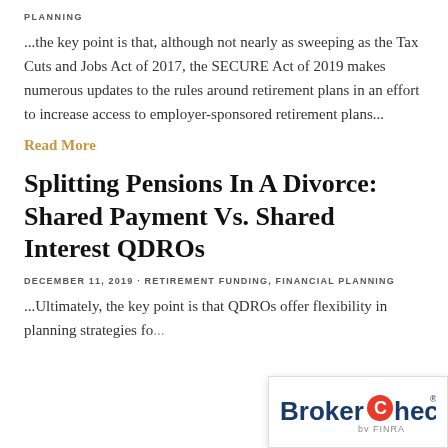PLANNING
...the key point is that, although not nearly as sweeping as the Tax Cuts and Jobs Act of 2017, the SECURE Act of 2019 makes numerous updates to the rules around retirement plans in an effort to increase access to employer-sponsored retirement plans...
Read More
Splitting Pensions In A Divorce: Shared Payment Vs. Shared Interest QDROs
DECEMBER 11, 2019 · RETIREMENT FUNDING, FINANCIAL PLANNING
...Ultimately, the key point is that QDROs offer flexibility in planning strategies fo...
[Figure (logo): BrokerCheck by FINRA logo in a white box overlay]